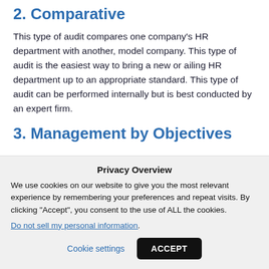2. Comparative
This type of audit compares one company’s HR department with another, model company. This type of audit is the easiest way to bring a new or ailing HR department up to an appropriate standard. This type of audit can be performed internally but is best conducted by an expert firm.
3. Management by Objectives
Privacy Overview
We use cookies on our website to give you the most relevant experience by remembering your preferences and repeat visits. By clicking “Accept”, you consent to the use of ALL the cookies.
Do not sell my personal information.